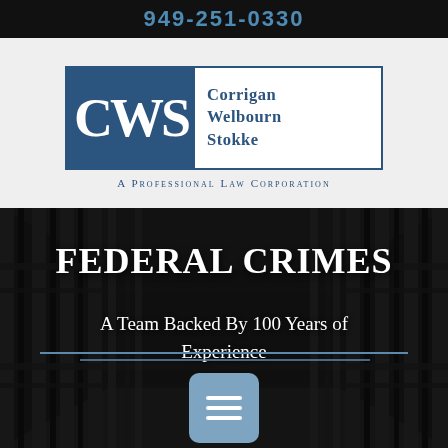949-251-0330
[Figure (logo): Corrigan Welbourn Stokke law firm logo with CWS initials in dark blue box]
A Professional Law Corporation
FEDERAL CRIMES
A Team Backed By 100 Years of Experience